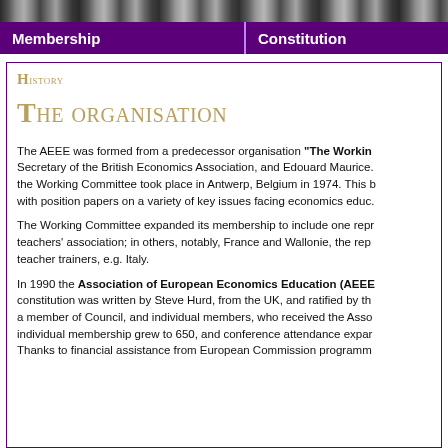[Figure (photo): Photo bar at top of page showing people/crowd in dark tones]
Membership   Constitution
History
The organisation
The AEEE was formed from a predecessor organisation "The Working Committee", Secretary of the British Economics Association, and Edouard Maurice... the Working Committee took place in Antwerp, Belgium in 1974. This b... with position papers on a variety of key issues facing economics educ...
The Working Committee expanded its membership to include one repr... teachers' association; in others, notably, France and Wallonie, the repr... teacher trainers, e.g. Italy.
In 1990 the Association of European Economics Education (AEEE... constitution was written by Steve Hurd, from the UK, and ratified by th... a member of Council, and individual members, who received the Asso... individual membership grew to 650, and conference attendance expa... Thanks to financial assistance from European Commission programm...